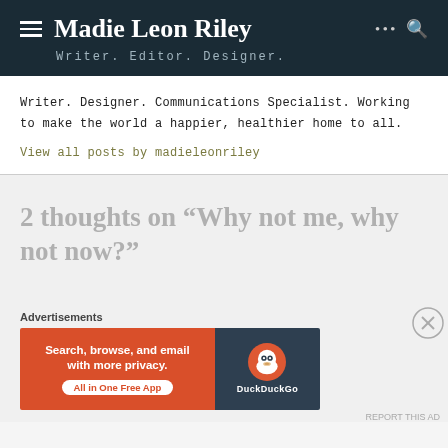Madie Leon Riley — Writer. Editor. Designer.
Writer. Designer. Communications Specialist. Working to make the world a happier, healthier home to all.
View all posts by madieleonriley
2 thoughts on “Why not me, why not now?”
[Figure (screenshot): DuckDuckGo advertisement banner: orange section with text 'Search, browse, and email with more privacy. All in One Free App' and dark blue section with DuckDuckGo duck logo and 'DuckDuckGo' text]
Advertisements
REPORT THIS AD